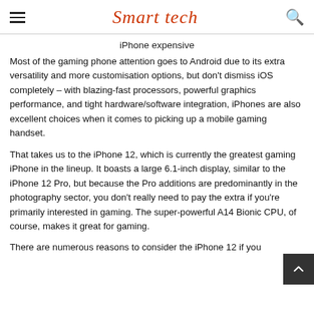Smart tech
iPhone expensive
Most of the gaming phone attention goes to Android due to its extra versatility and more customisation options, but don't dismiss iOS completely – with blazing-fast processors, powerful graphics performance, and tight hardware/software integration, iPhones are also excellent choices when it comes to picking up a mobile gaming handset.
That takes us to the iPhone 12, which is currently the greatest gaming iPhone in the lineup. It boasts a large 6.1-inch display, similar to the iPhone 12 Pro, but because the Pro additions are predominantly in the photography sector, you don't really need to pay the extra if you're primarily interested in gaming. The super-powerful A14 Bionic CPU, of course, makes it great for gaming.
There are numerous reasons to consider the iPhone 12 if you